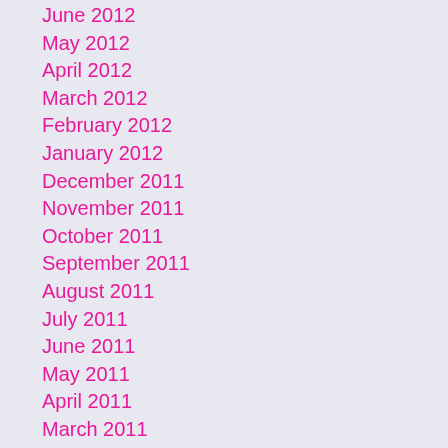June 2012
May 2012
April 2012
March 2012
February 2012
January 2012
December 2011
November 2011
October 2011
September 2011
August 2011
July 2011
June 2011
May 2011
April 2011
March 2011
February 2011
January 2011
December 2010
November 2010